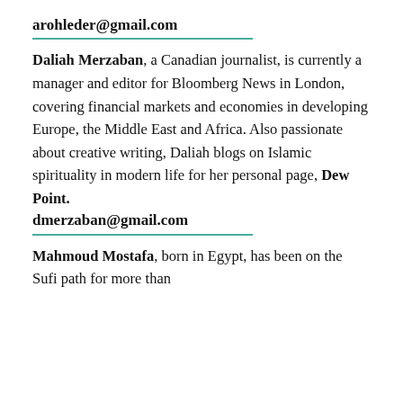arohleder@gmail.com
Daliah Merzaban, a Canadian journalist, is currently a manager and editor for Bloomberg News in London, covering financial markets and economies in developing Europe, the Middle East and Africa. Also passionate about creative writing, Daliah blogs on Islamic spirituality in modern life for her personal page, Dew Point. dmerzaban@gmail.com
Mahmoud Mostafa, born in Egypt, has been on the Sufi path for more than